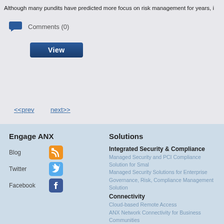Although many pundits have predicted more focus on risk management for years, i
Comments (0)
View
<<prev   next>>
Engage ANX
Blog
Twitter
Facebook
Solutions
Integrated Security & Compliance
Managed Security and PCI Compliance Solution for Smal
Managed Security Solutions for Enterprise
Governance, Risk, Compliance Management Solution
Connectivity
Cloud-based Remote Access
ANX Network Connectivity for Business Communities